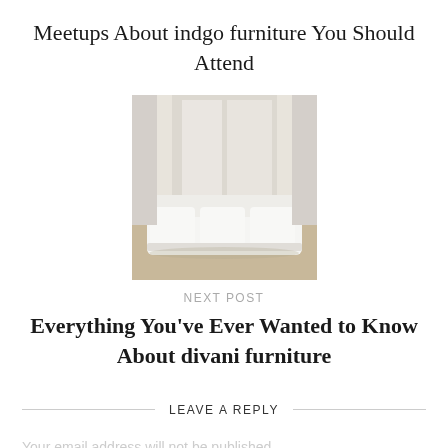Meetups About indgo furniture You Should Attend
[Figure (photo): Photo of a white sectional sofa in a bright room with large windows]
NEXT POST
Everything You’ve Ever Wanted to Know About divani furniture
LEAVE A REPLY
Your email address will not be published.